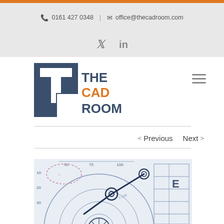📞 0161 427 0348 | ✉ office@thecadroom.com
[Figure (logo): The CAD Room logo — dark blue square with white cutout letter T shape, beside text THE CAD ROOM with CAD in orange]
< Previous   Next >
[Figure (photo): Close-up photograph of engineering/architectural blueprint drawing with compass tool, circles and technical annotations on white paper]